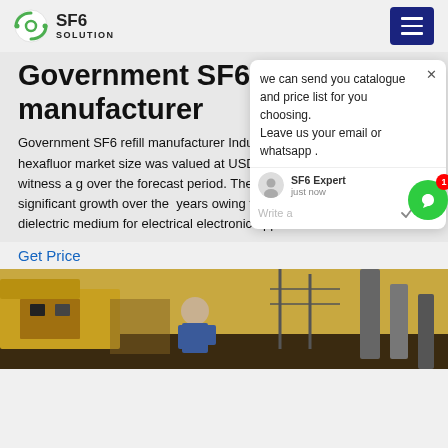SF6 SOLUTION
Government SF6 refill manufacturer
Government SF6 refill manufacturer Industry Insights. The global sulfur hexafluor market size was valued at USD 205 2018 and is expected to witness a g over the forecast period. The marke to witness significant growth over the years owing to its rising demand as a dielectric medium for electrical electronic appliances.
[Figure (screenshot): Chat popup overlay: 'we can send you catalogue and price list for you choosing. Leave us your email or whatsapp.' with SF6 Expert agent, just now, Write a message input field with like and attachment icons]
Get Price
[Figure (photo): Photo of industrial SF6 equipment - a worker at electrical equipment near industrial chimney stacks]